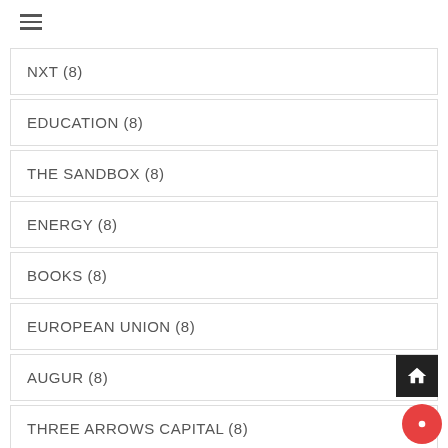NXT (8)
EDUCATION (8)
THE SANDBOX (8)
ENERGY (8)
BOOKS (8)
EUROPEAN UNION (8)
AUGUR (8)
THREE ARROWS CAPITAL (8)